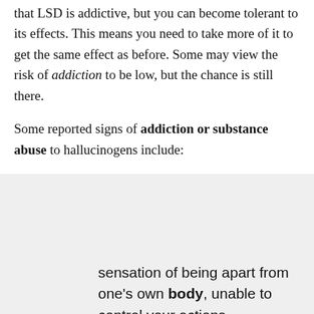that LSD is addictive, but you can become tolerant to its effects. This means you need to take more of it to get the same effect as before. Some may view the risk of addiction to be low, but the chance is still there.
Some reported signs of addiction or substance abuse to hallucinogens include:
[Figure (screenshot): A live chat popup widget showing a close button, a chat bubble with a female avatar photo and the text 'Hi there, have a question? Text us here.', a teal chat icon button, and a teal accessibility icon button.]
sensation of being apart from one's own body, unable to control your actions